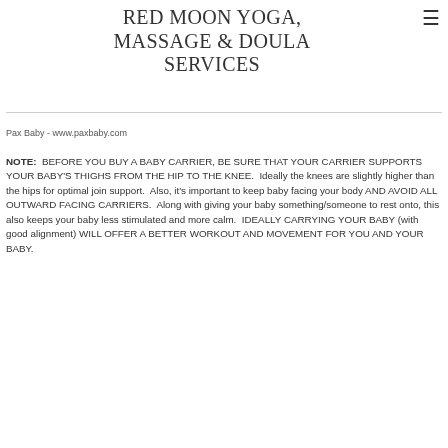RED MOON YOGA, MASSAGE & DOULA SERVICES
Pax Baby - www.paxbaby.com
NOTE: BEFORE YOU BUY A BABY CARRIER, BE SURE THAT YOUR CARRIER SUPPORTS YOUR BABY'S THIGHS FROM THE HIP TO THE KNEE. Ideally the knees are slightly higher than the hips for optimal join support. Also, it's important to keep baby facing your body AND AVOID ALL OUTWARD FACING CARRIERS. Along with giving your baby something/someone to rest onto, this also keeps your baby less stimulated and more calm. IDEALLY CARRYING YOUR BABY (with good alignment) WILL OFFER A BETTER WORKOUT AND MOVEMENT FOR YOU AND YOUR BABY.